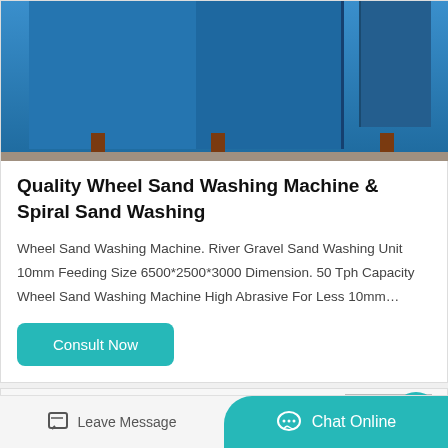[Figure (photo): Blue industrial sand washing machine equipment shown from the front, with blue rectangular metal body sections and brown legs, on a concrete ground.]
Quality Wheel Sand Washing Machine & Spiral Sand Washing
Wheel Sand Washing Machine. River Gravel Sand Washing Unit 10mm Feeding Size 6500*2500*3000 Dimension. 50 Tph Capacity Wheel Sand Washing Machine High Abrasive For Less 10mm…
[Figure (screenshot): Partial view of a second product listing showing white industrial machinery with an orange decorative splash graphic, and a teal circular up-arrow button in the top right.]
Leave Message
Chat Online